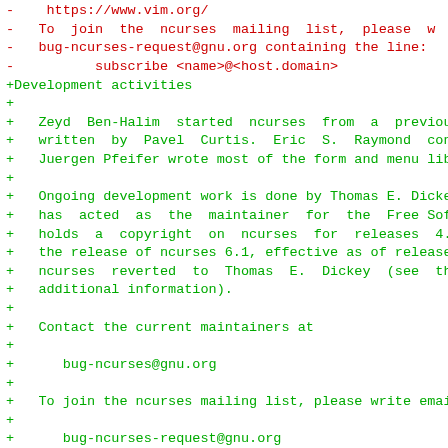Diff output showing removed lines (red) and added lines (green) for ncurses README/changelog content about mailing list and development activities.